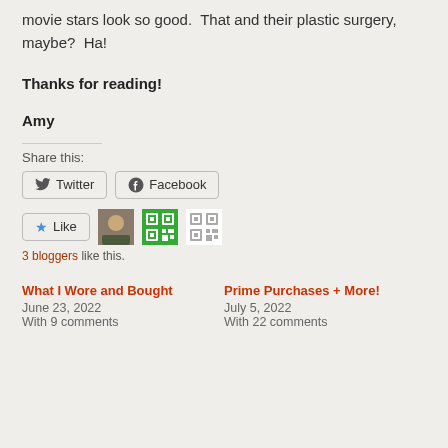movie stars look so good.  That and their plastic surgery, maybe?  Ha!
Thanks for reading!
Amy
Share this:
[Figure (other): Twitter and Facebook share buttons]
[Figure (other): Like button with 3 blogger avatars/icons]
3 bloggers like this.
What I Wore and Bought
June 23, 2022
With 9 comments
Prime Purchases + More!
July 5, 2022
With 22 comments